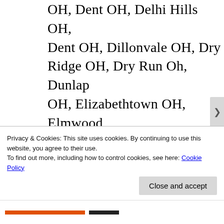OH, Dent OH, Delhi Hills OH, Dent OH, Dillonvale OH, Dry Ridge OH, Dry Run Oh, Dunlap OH, Elizabethtown OH, Elmwood Place OH, English Woods OH, Evanstown OH, Evendale OH, Fairfax OH, Fairmount OH, Fairwind Acres OH, Faxon Hills OH, Fernbank OH, Finneytown OH, Forest Park OH, Forestville OH, Fruit Hill OH, Glendale OH,
Privacy & Cookies: This site uses cookies. By continuing to use this website, you agree to their use.
To find out more, including how to control cookies, see here: Cookie Policy